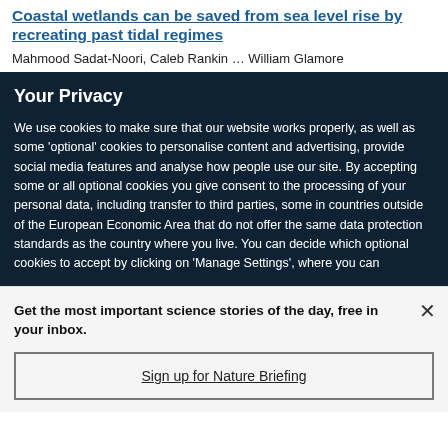Coastal wetlands can be saved from sea level rise by recreating past tidal regimes
Mahmood Sadat-Noori, Caleb Rankin ... William Glamore
Your Privacy
We use cookies to make sure that our website works properly, as well as some 'optional' cookies to personalise content and advertising, provide social media features and analyse how people use our site. By accepting some or all optional cookies you give consent to the processing of your personal data, including transfer to third parties, some in countries outside of the European Economic Area that do not offer the same data protection standards as the country where you live. You can decide which optional cookies to accept by clicking on 'Manage Settings', where you can
Get the most important science stories of the day, free in your inbox.
Sign up for Nature Briefing